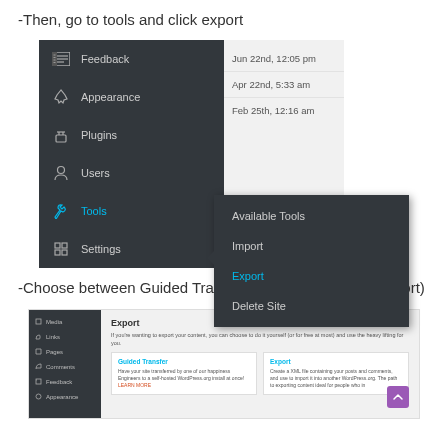-Then, go to tools and click export
[Figure (screenshot): WordPress admin sidebar showing Feedback, Appearance, Plugins, Users, Tools (highlighted in blue), Settings menu items, with a submenu expanded showing Available Tools, Import, Export (highlighted in blue), Delete Site options. Dates panel visible on right.]
-Choose between Guided Transfer or Export ( I chose export)
[Figure (screenshot): WordPress Export page screenshot showing sidebar with Media, Links, Pages, Comments, Feedback, Appearance menu items, and main content area with Export heading, description text, and two option boxes: Guided Transfer and Export.]